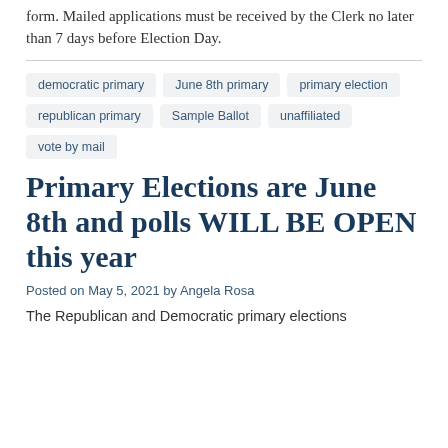form. Mailed applications must be received by the Clerk no later than 7 days before Election Day.
democratic primary
June 8th primary
primary election
republican primary
Sample Ballot
unaffiliated
vote by mail
Primary Elections are June 8th and polls WILL BE OPEN this year
Posted on May 5, 2021 by Angela Rosa
The Republican and Democratic primary elections